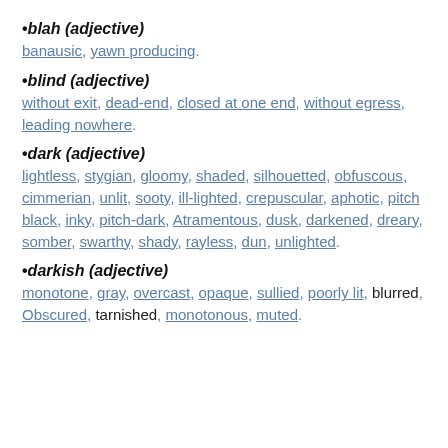•blah (adjective)
banausic, yawn producing.
•blind (adjective)
without exit, dead-end, closed at one end, without egress, leading nowhere.
•dark (adjective)
lightless, stygian, gloomy, shaded, silhouetted, obfuscous, cimmerian, unlit, sooty, ill-lighted, crepuscular, aphotic, pitch black, inky, pitch-dark, Atramentous, dusk, darkened, dreary, somber, swarthy, shady, rayless, dun, unlighted.
•darkish (adjective)
monotone, gray, overcast, opaque, sullied, poorly lit, blurred, Obscured, tarnished, monotonous, muted.